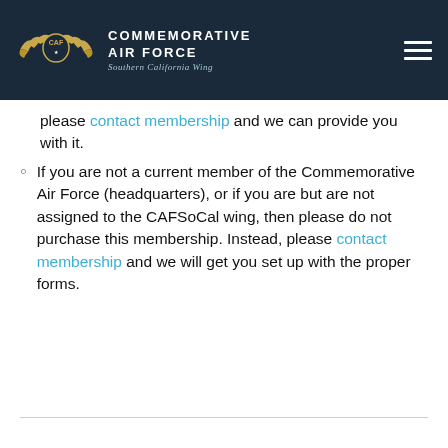COMMEMORATIVE AIR FORCE Southern California Wing
please contact membership and we can provide you with it.
If you are not a current member of the Commemorative Air Force (headquarters), or if you are but are not assigned to the CAFSoCal wing, then please do not purchase this membership. Instead, please contact membership and we will get you set up with the proper forms.